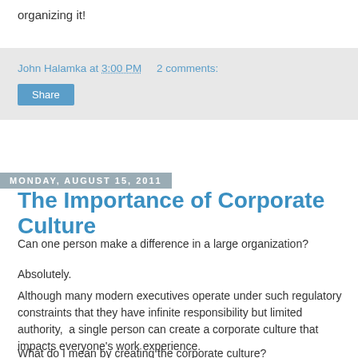organizing it!
John Halamka at 3:00 PM   2 comments:
Share
Monday, August 15, 2011
The Importance of Corporate Culture
Can one person make a difference in a large organization?
Absolutely.
Although many modern executives operate under such regulatory constraints that they have infinite responsibility but limited authority,  a single person can create a corporate culture that impacts everyone's work experience.
What do I mean by creating the corporate culture?